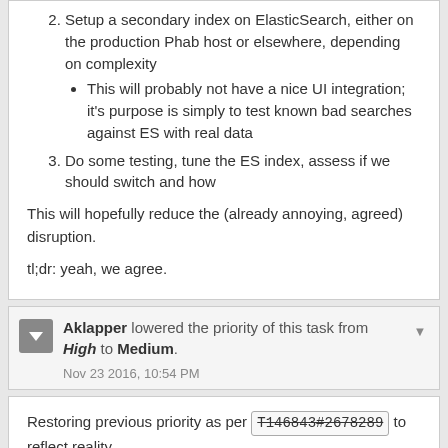2. Setup a secondary index on ElasticSearch, either on the production Phab host or elsewhere, depending on complexity
This will probably not have a nice UI integration; it's purpose is simply to test known bad searches against ES with real data
3. Do some testing, tune the ES index, assess if we should switch and how
This will hopefully reduce the (already annoying, agreed) disruption.
tl;dr: yeah, we agree.
Aklapper lowered the priority of this task from High to Medium.
Nov 23 2016, 10:54 PM
Restoring previous priority as per T146843#2678289 to reflect reality.
Elitre added a comment.